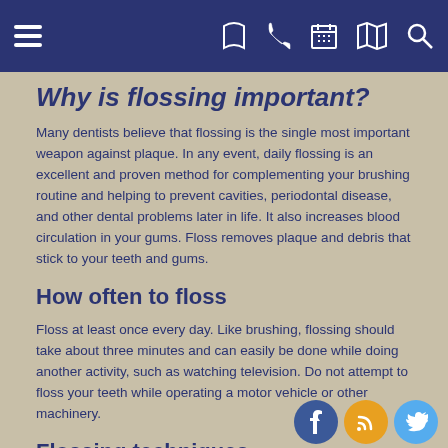Navigation bar with hamburger menu, phone, calendar, map, and search icons
Why is flossing important?
Many dentists believe that flossing is the single most important weapon against plaque. In any event, daily flossing is an excellent and proven method for complementing your brushing routine and helping to prevent cavities, periodontal disease, and other dental problems later in life. It also increases blood circulation in your gums. Floss removes plaque and debris that stick to your teeth and gums.
How often to floss
Floss at least once every day. Like brushing, flossing should take about three minutes and can easily be done while doing another activity, such as watching television. Do not attempt to floss your teeth while operating a motor vehicle or other machinery.
Flossing techniques
There are two common methods for flossing, the "spool method" and the "loop method"